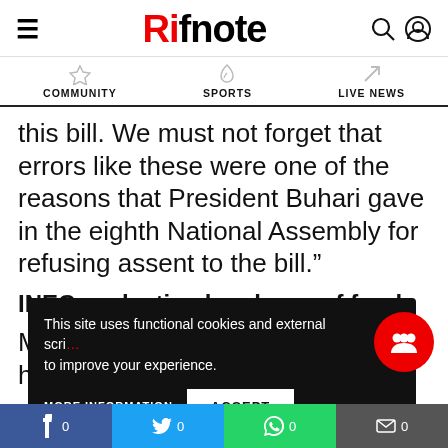Rifnote
COMMUNITY  SPORTS  LIVE NEWS
this bill. We must not forget that errors like these were one of the reasons that President Buhari gave in the eighth National Assembly for refusing assent to the bill.”
INEC seeks timely release of funds
Meanwhile, INEC has expressed hope that funds
This site uses functional cookies and external scripts to improve your experience.
MORE INFORMATION   ACCEPT
f 0   0   0   ✉ 0